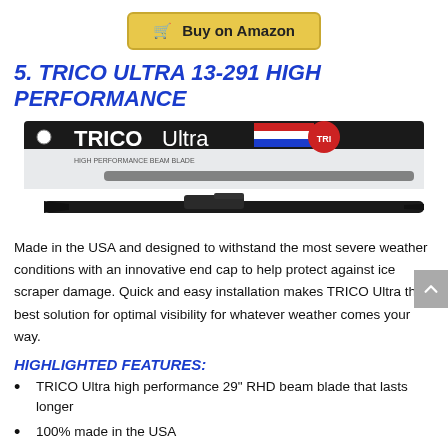[Figure (other): Buy on Amazon button with shopping cart icon]
5. TRICO ULTRA 13-291 HIGH PERFORMANCE
[Figure (photo): TRICO Ultra High Performance Beam Blade product packaging and the wiper blade itself]
Made in the USA and designed to withstand the most severe weather conditions with an innovative end cap to help protect against ice scraper damage. Quick and easy installation makes TRICO Ultra the best solution for optimal visibility for whatever weather comes your way.
HIGHLIGHTED FEATURES:
TRICO Ultra high performance 29" RHD beam blade that lasts longer
100% made in the USA